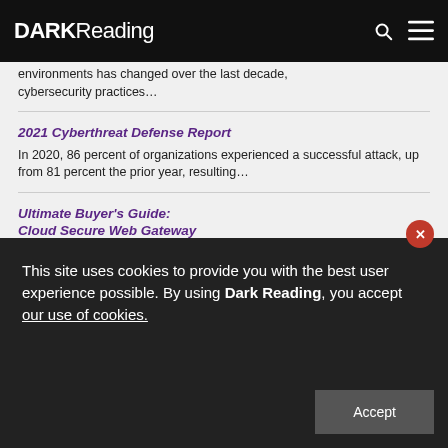DARK Reading
environments has changed over the last decade, cybersecurity practices…
2021 Cyberthreat Defense Report
In 2020, 86 percent of organizations experienced a successful attack, up from 81 percent the prior year, resulting…
Ultimate Buyer's Guide: Cloud Secure Web Gateway
Working habits are changing, and it's pushing the boundaries of legacy security.
Exploring ZTNA as a Pillar of Zero Trust Initiatives
This ebook examines the state of Zero Trust
This site uses cookies to provide you with the best user experience possible. By using Dark Reading, you accept our use of cookies.